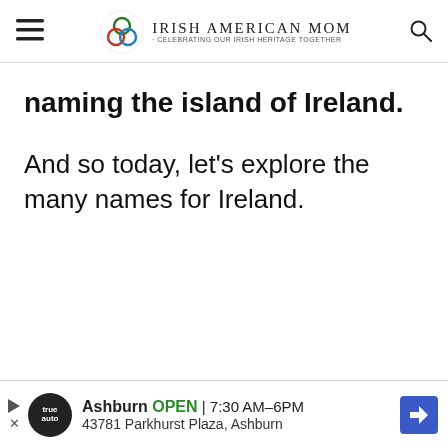Irish American Mom - Celebrating Our Irish Heritage Together
naming the island of Ireland.
And so today, let’s explore the many names for Ireland.
[Figure (infographic): Advertisement banner: Ashburn OPEN 7:30AM–6PM, 43781 Parkhurst Plaza, Ashburn, with auto service logo and navigation arrow icon]